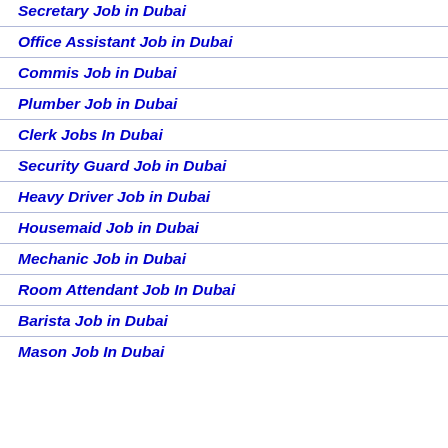Secretary Job in Dubai
Office Assistant Job in Dubai
Commis Job in Dubai
Plumber Job in Dubai
Clerk Jobs In Dubai
Security Guard Job in Dubai
Heavy Driver Job in Dubai
Housemaid Job in Dubai
Mechanic Job in Dubai
Room Attendant Job In Dubai
Barista Job in Dubai
Mason Job In Dubai